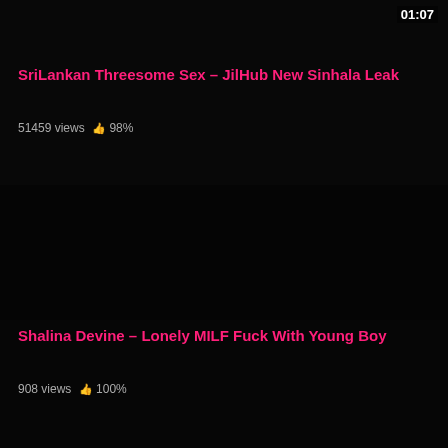01:07
SriLankan Threesome Sex – JilHub New Sinhala Leak
51459 views  👍 98%
[Figure (other): Dark/black video thumbnail placeholder]
Shalina Devine – Lonely MILF Fuck With Young Boy
908 views  👍 100%